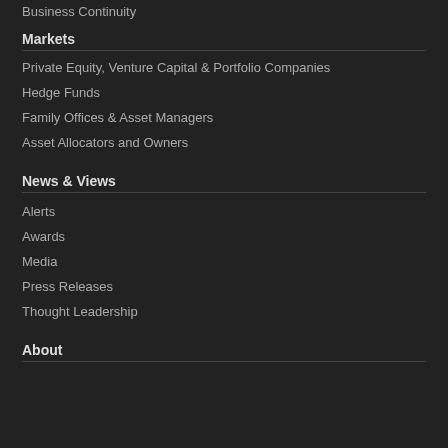Business Continuity
Markets
Private Equity, Venture Capital & Portfolio Companies
Hedge Funds
Family Offices & Asset Managers
Asset Allocators and Owners
News & Views
Alerts
Awards
Media
Press Releases
Thought Leadership
About